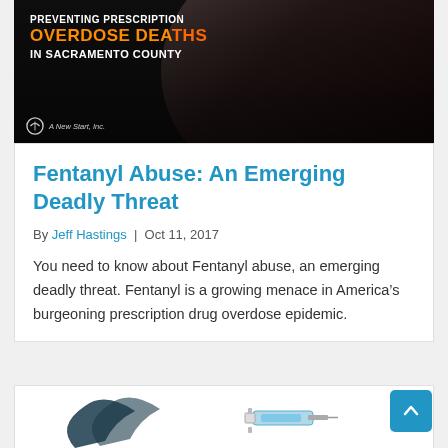[Figure (photo): Dark background image showing a woman with text overlay reading OVERDOSE DEATHS IN SACRAMENTO COUNTY, with A New Start, Inc. logo at bottom left]
Fentanyl Abuse: An Emerging Deadly Threat
By Jeff Hastings  |  Oct 11, 2017
You need to know about Fentanyl abuse, an emerging deadly threat. Fentanyl is a growing menace in America’s burgeoning prescription drug overdose epidemic.
[Figure (illustration): Partial view of a stylized arrow/logo shape on the left and a syringe illustration on the right, bottom card preview]